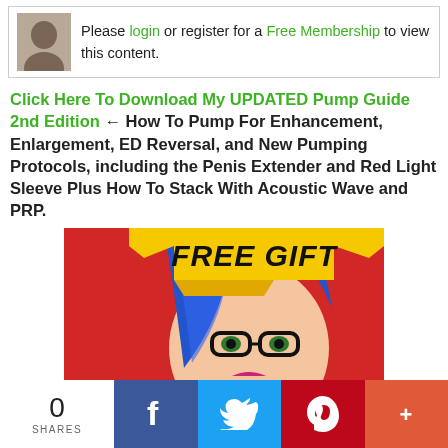Please login or register for a Free Membership to view this content.
Click Here To Download My UPDATED Pump Guide 2nd Edition ← How To Pump For Enhancement, Enlargement, ED Reversal, and New Pumping Protocols, including the Penis Extender and Red Light Sleeve Plus How To Stack With Acoustic Wave and PRP.
[Figure (illustration): FREE GIFT banner with pop-art illustration of a woman with blue hair and glasses]
0 SHARES
[Figure (infographic): Social sharing bar with Facebook, Twitter, Pinterest, and More buttons]